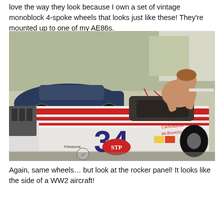love the way they look because I own a set of vintage monoblock 4-spoke wheels that looks just like these! They're mounted up to one of my AE86s.
[Figure (photo): Vintage racing car number 34 with white and red stripe livery, STP and Firestone logos on the bodywork. A shirtless mechanic leans over the open cockpit working on the car. Other classic race cars and vehicles visible in the background at what appears to be a paddock or pit area.]
Again, same wheels... but look at the rocker panel! It looks like the side of a WW2 aircraft!